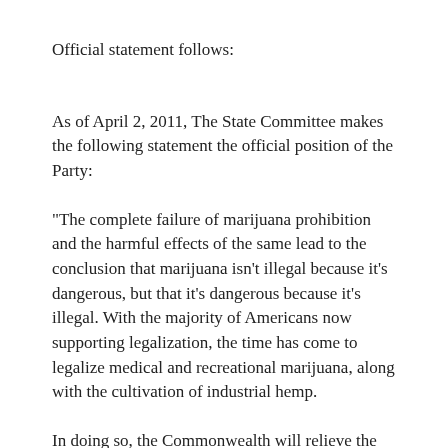Official statement follows:
As of April 2, 2011, The State Committee makes the following statement the official position of the Party:
"The complete failure of marijuana prohibition and the harmful effects of the same lead to the conclusion that marijuana isn't illegal because it's dangerous, but that it's dangerous because it's illegal. With the majority of Americans now supporting legalization, the time has come to legalize medical and recreational marijuana, along with the cultivation of industrial hemp.
In doing so, the Commonwealth will relieve the undue strain prosecution creates on law enforcement and the judiciary; it will begin to resolve the striking racial